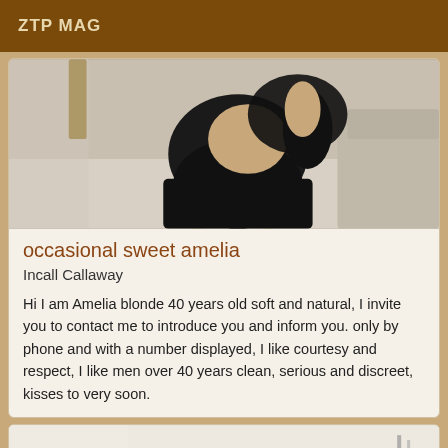ZTP MAG
[Figure (photo): Photo of a person in black leather clothing, kneeling on a light carpet near a sofa]
occasional sweet amelia
Incall Callaway
Hi I am Amelia blonde 40 years old soft and natural, I invite you to contact me to introduce you and inform you. only by phone and with a number displayed, I like courtesy and respect, I like men over 40 years clean, serious and discreet, kisses to very soon.
[Figure (photo): Partial photo showing a light-colored room, cropped at bottom of page]